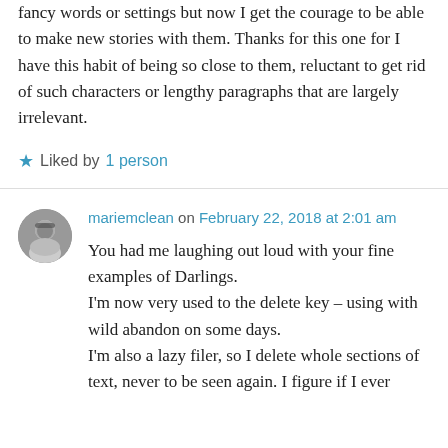fancy words or settings but now I get the courage to be able to make new stories with them. Thanks for this one for I have this habit of being so close to them, reluctant to get rid of such characters or lengthy paragraphs that are largely irrelevant.
★ Liked by 1 person
mariemclean on February 22, 2018 at 2:01 am
You had me laughing out loud with your fine examples of Darlings.
I'm now very used to the delete key – using with wild abandon on some days.
I'm also a lazy filer, so I delete whole sections of text, never to be seen again. I figure if I ever